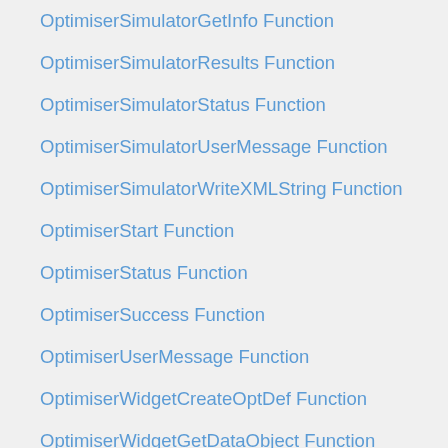OptimiserSimulatorGetInfo Function
OptimiserSimulatorResults Function
OptimiserSimulatorStatus Function
OptimiserSimulatorUserMessage Function
OptimiserSimulatorWriteXMLString Function
OptimiserStart Function
OptimiserStatus Function
OptimiserSuccess Function
OptimiserUserMessage Function
OptimiserWidgetCreateOptDef Function
OptimiserWidgetGetDataObject Function
OptimiserWidgetGetDataObjectNames Function
OptimiserWidgetGetInfo Function
OptimiserWidgetPreFlightChecks Function
OptimiserWidgetWriteCommandFile Function